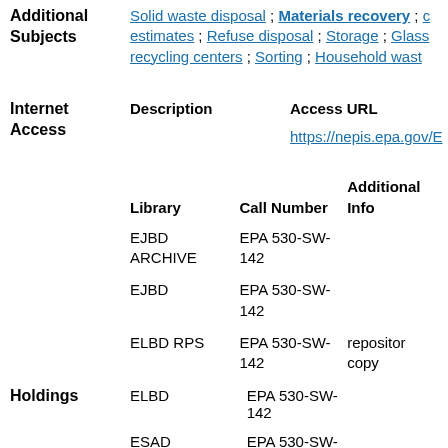Additional Subjects: Solid waste disposal ; Materials recovery ; [cost] estimates ; Refuse disposal ; Storage ; Glass recycling centers ; Sorting ; Household wast[e]
| Description | Access URL |
| --- | --- |
|  | https://nepis.epa.gov/E... |
| Library | Call Number | Additional Info |
| --- | --- | --- |
| EJBD ARCHIVE | EPA 530-SW-142 |  |
| EJBD | EPA 530-SW-142 |  |
| ELBD RPS | EPA 530-SW-142 | repository copy |
| Library | Call Number | Additional Info |
| --- | --- | --- |
| ELBD | EPA 530-SW-142 |  |
| ESAD | EPA 530-SW-142 |  |